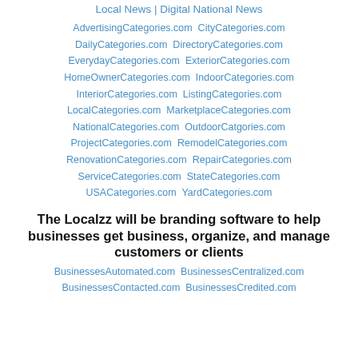Local News | Digital National News
AdvertisingCategories.com  CityCategories.com
DailyCategories.com  DirectoryCategories.com
EverydayCategories.com  ExteriorCategories.com
HomeOwnerCategories.com  IndoorCategories.com
InteriorCategories.com  ListingCategories.com
LocalCategories.com  MarketplaceCategories.com
NationalCategories.com  OutdoorCatgories.com
ProjectCategories.com  RemodelCategories.com
RenovationCategories.com  RepairCategories.com
ServiceCategories.com  StateCategories.com
USACategories.com  YardCategories.com
The Localzz will be branding software to help businesses get business, organize, and manage customers or clients
BusinessesAutomated.com  BusinessesCentralized.com
BusinessesContacted.com  BusinessesCredited.com